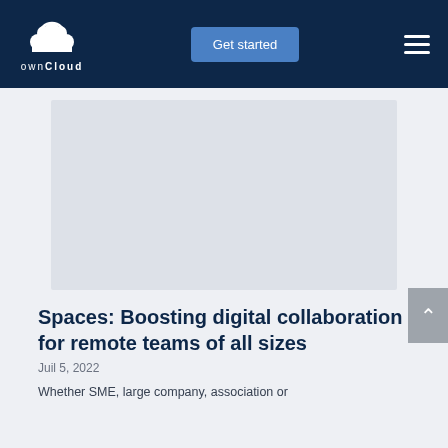ownCloud — Get started
[Figure (screenshot): Blank/placeholder image area within ownCloud article page]
Spaces: Boosting digital collaboration for remote teams of all sizes
Juil 5, 2022
Whether SME, large company, association or